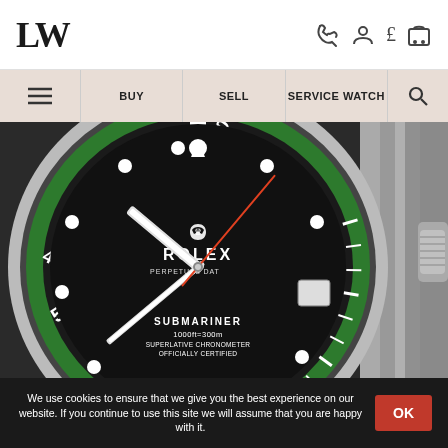LW
[Figure (other): Navigation bar with hamburger menu, BUY, SELL, SERVICE WATCH, and search icon on beige background]
[Figure (photo): Close-up photo of a Rolex Submariner watch with green bezel (Kermit) showing black dial, green bezel with markers, SUBMARINER 1000ft=300m SUPERLATIVE CHRONOMETER OFFICIALLY CERTIFIED text, and silver bracelet]
We use cookies to ensure that we give you the best experience on our website. If you continue to use this site we will assume that you are happy with it.